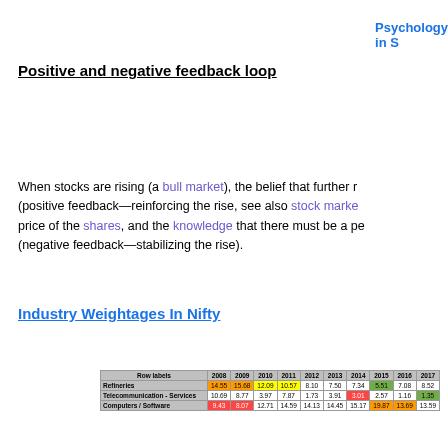Psychology in S
Positive and negative feedback loop
When stocks are rising (a bull market), the belief that further r (positive feedback—reinforcing the rise, see also stock marke price of the shares, and the knowledge that there must be a pe (negative feedback—stabilizing the rise).
Industry Weightages In Nifty
| Row labels | 2008 | 2009 | 2010 | 2011 | 2012 | 2013 | 2014 | 2015 | 2016 | 2017 |
| --- | --- | --- | --- | --- | --- | --- | --- | --- | --- | --- |
| Refineries | 14.55 | 15.68 | 12.09 | 10.57 | 8.10 | 7.50 | 7.34 | 5.51 | 7.08 | 8.52 |
| Telecommunication - Services | 10.69 | 8.77 | 3.97 | 7.87 | 1.73 | 3.91 | 3.01 | 2.57 | 1.16 | 1.35 |
| Computers / Software | 9.43 | 8.07 | 12.71 | 14.59 | 14.13 | 14.45 | 15.17 | 19.87 | 13.69 | 13.59 |